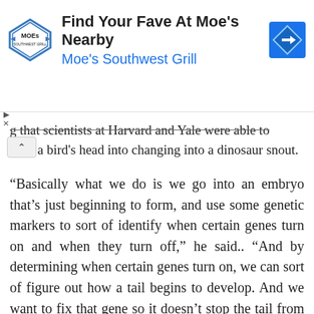[Figure (other): Advertisement banner for Moe's Southwest Grill with logo, text 'Find Your Fave At Moe's Nearby', subtitle 'Moe's Southwest Grill', and a blue arrow road sign icon. Play and close controls on left side.]
g that scientists at Harvard and Yale were able to [trick] a bird's head into changing into a dinosaur snout.
“Basically what we do is we go into an embryo that’s just beginning to form, and use some genetic markers to sort of identify when certain genes turn on and when they turn off,” he said.. “And by determining when certain genes turn on, we can sort of figure out how a tail begins to develop. And we want to fix that gene so it doesn’t stop the tail from growing.”
Horner was completely confident that some form of what he called a "chickensoraus" will be walking the earth within ten years. “We can make a bird with teeth, and we can change its mouth,” he said. “And actually the wings and hands are not as difficult